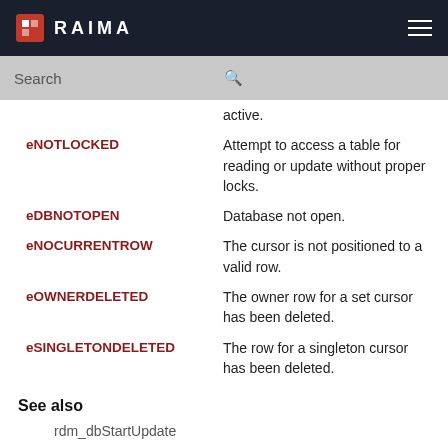RAIMA
| Code | Description |
| --- | --- |
| eNOTLOCKED | Attempt to access a table for reading or update without proper locks. |
| eDBNOTOPEN | Database not open. |
| eNOCURRENTROW | The cursor is not positioned to a valid row. |
| eOWNERDELETED | The owner row for a set cursor has been deleted. |
| eSINGLETONDELETED | The row for a singleton cursor has been deleted. |
See also
rdm_dbStartUpdate
rdm_dbGetRows